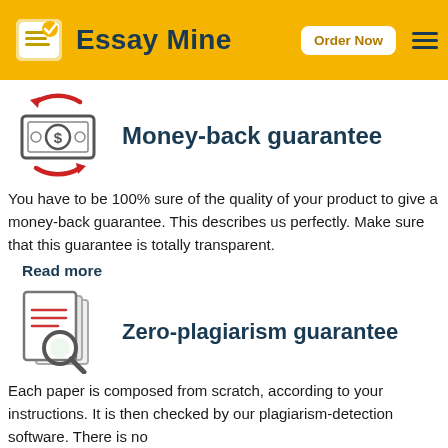Essay Mine | Order Now
Money-back guarantee
You have to be 100% sure of the quality of your product to give a money-back guarantee. This describes us perfectly. Make sure that this guarantee is totally transparent.
Read more
Zero-plagiarism guarantee
Each paper is composed from scratch, according to your instructions. It is then checked by our plagiarism-detection software. There is no